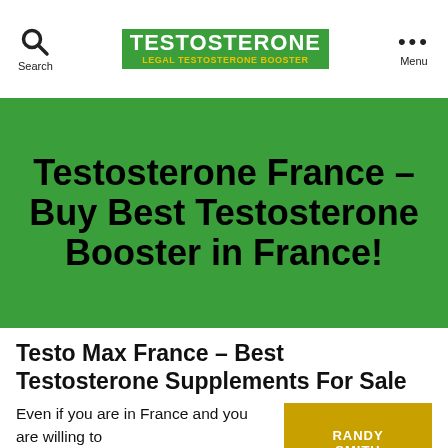TESTOSTERONE / LEGAL TESTOSTERONE BOOSTER
Testosterone France – Buy Best Testosterone Booster in France!
Testo Max France – Best Testosterone Supplements For Sale
Even if you are in France and you are willing to
[Figure (photo): Image of Randy Smith]